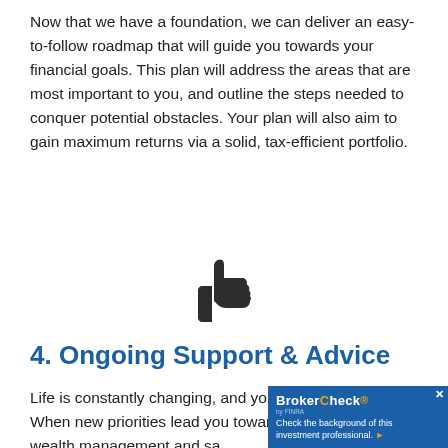Now that we have a foundation, we can deliver an easy-to-follow roadmap that will guide you towards your financial goals. This plan will address the areas that are most important to you, and outline the steps needed to conquer potential obstacles. Your plan will also aim to gain maximum returns via a solid, tax-efficient portfolio.
[Figure (illustration): Thumbs up icon in dark gray/black]
4. Ongoing Support & Advice
Life is constantly changing, and your goals will too. When new priorities lead you towards approaches to wealth management and sa...